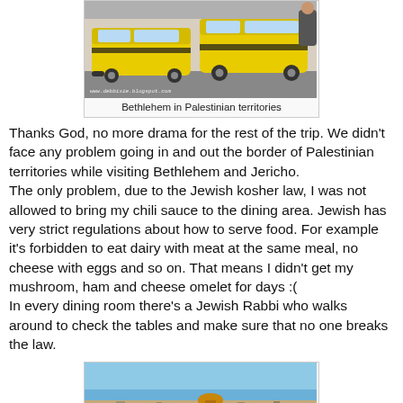[Figure (photo): Two yellow taxis parked in Bethlehem, Palestinian territories. Watermark: www.debbixie.blogspot.com]
Bethlehem in Palestinian territories
Thanks God, no more drama for the rest of the trip. We didn't face any problem going in and out the border of Palestinian territories while visiting Bethlehem and Jericho.
The only problem, due to the Jewish kosher law, I was not allowed to bring my chili sauce to the dining area. Jewish has very strict regulations about how to serve food. For example it's forbidden to eat dairy with meat at the same meal, no cheese with eggs and so on. That means I didn't get my mushroom, ham and cheese omelet for days :(
In every dining room there's a Jewish Rabbi who walks around to check the tables and make sure that no one breaks the law.
[Figure (photo): Panoramic skyline view of Jerusalem/Bethlehem area under blue sky. Watermark: www.debbixie.blogspot.com]